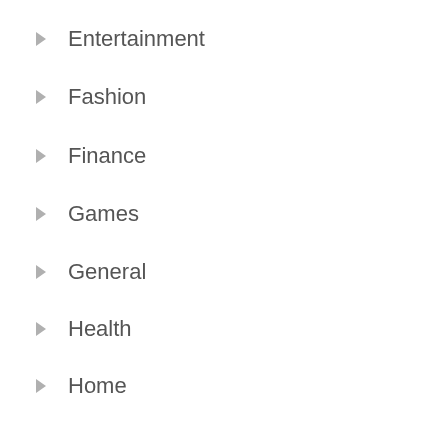Entertainment
Fashion
Finance
Games
General
Health
Home
Home Appliance
Insurance
Internet Marketing